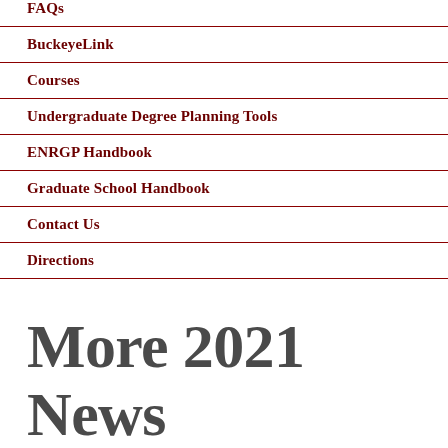FAQs
BuckeyeLink
Courses
Undergraduate Degree Planning Tools
ENRGP Handbook
Graduate School Handbook
Contact Us
Directions
More 2021 News